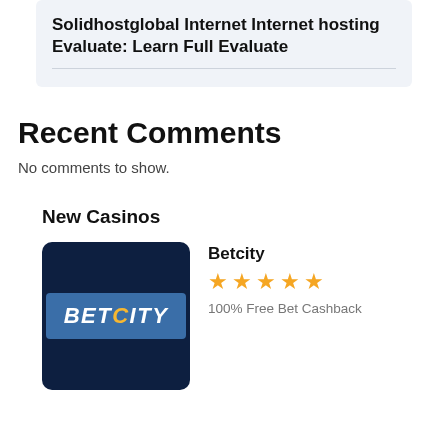Solidhostglobal Internet Internet hosting Evaluate: Learn Full Evaluate
Recent Comments
No comments to show.
New Casinos
[Figure (logo): Betcity logo on dark navy background with blue rectangle]
Betcity
★★★★★
100% Free Bet Cashback